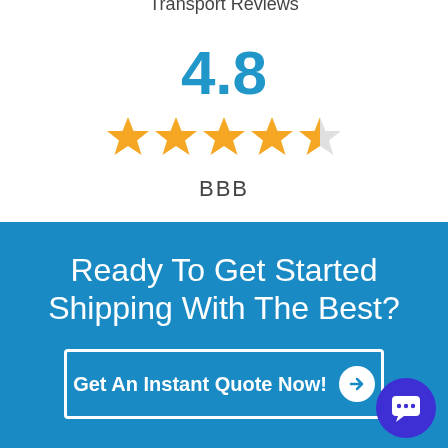Transport Reviews
4.8
[Figure (other): 4 full gold stars and 1 half gold star rating]
BBB
Ready To Get Started Shipping With The Best?
Get An Instant Quote Now!